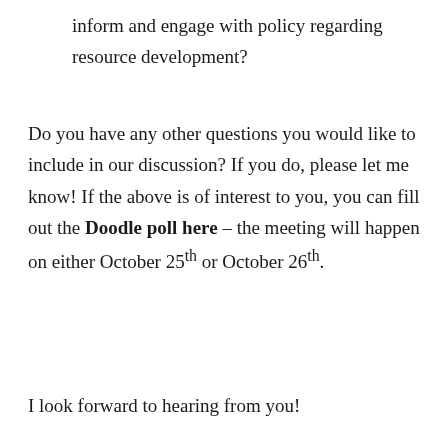inform and engage with policy regarding resource development?
Do you have any other questions you would like to include in our discussion? If you do, please let me know! If the above is of interest to you, you can fill out the Doodle poll here – the meeting will happen on either October 25th or October 26th.
I look forward to hearing from you!